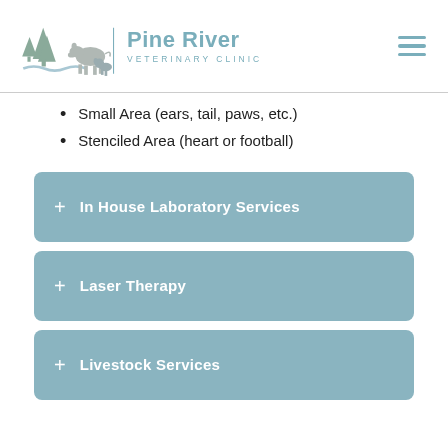[Figure (logo): Pine River Veterinary Clinic logo with trees, cow, and dog silhouettes in sage green/blue-grey tones]
Small Area (ears, tail, paws, etc.)
Stenciled Area (heart or football)
+ In House Laboratory Services
+ Laser Therapy
+ Livestock Services